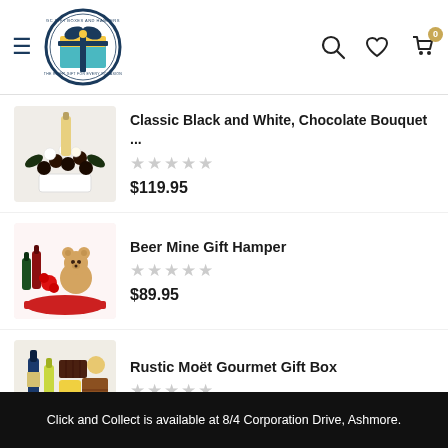[Figure (logo): GC Gift Boxes and Hampers circular logo with gift box illustration in yellow and teal, tagline 'The Right Gift For Every Occasion']
Classic Black and White, Chocolate Bouquet ...
$119.95
Beer Mine Gift Hamper
$89.95
Rustic Moët Gourmet Gift Box
$182.95
Click and Collect is available at 8/4 Corporation Drive, Ashmore.